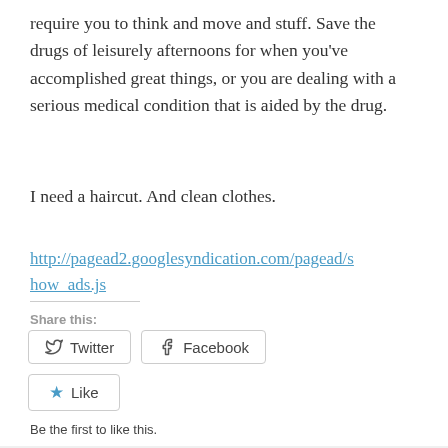require you to think and move and stuff. Save the drugs of leisurely afternoons for when you've accomplished great things, or you are dealing with a serious medical condition that is aided by the drug.
I need a haircut. And clean clothes.
http://pagead2.googlesyndication.com/pagead/show_ads.js
Share this:
[Figure (other): Twitter and Facebook share buttons, and a Like button with star icon]
Be the first to like this.
Filed under Uncategorized  Leave a comment